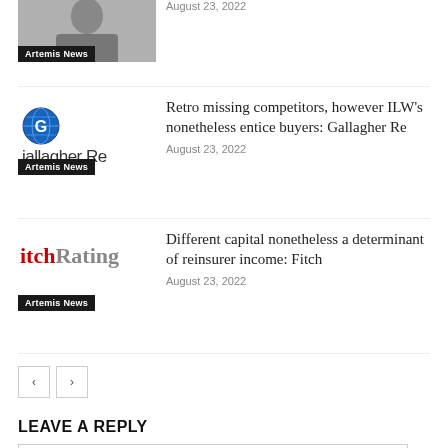[Figure (photo): Grayscale photo of a man in a suit, partially cropped, with 'Artemis News' label overlay]
August 23, 2022
[Figure (logo): Gallagher Re logo with blue globe icon and 'Gallagher Re' text, with 'Artemis News' label]
Retro missing competitors, however ILW's nonetheless entice buyers: Gallagher Re
August 23, 2022
[Figure (logo): Fitch Ratings logo with red 'itch' and gray 'Rating' text, with 'Artemis News' label]
Different capital nonetheless a determinant of reinsurer income: Fitch
August 23, 2022
LEAVE A REPLY
Comment: